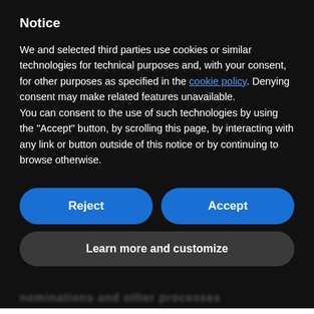Notice
We and selected third parties use cookies or similar technologies for technical purposes and, with your consent, for other purposes as specified in the cookie policy. Denying consent may make related features unavailable.
You can consent to the use of such technologies by using the "Accept" button, by scrolling this page, by interacting with any link or button outside of this notice or by continuing to browse otherwise.
Reject
Accept
Learn more and customize
Self-nominations are requested in order to ensure that the candidate is willing to serve
Translate »